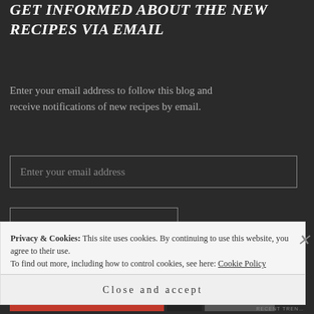GET INFORMED ABOUT THE NEW RECIPES VIA EMAIL
Enter your email address to follow this blog and receive notifications of new recipes by email.
Enter your email address
FOLLOW VIA EMAIL
Join 1,195 other followers
Privacy & Cookies: This site uses cookies. By continuing to use this website, you agree to their use.
To find out more, including how to control cookies, see here: Cookie Policy
Close and accept